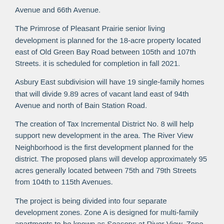Avenue and 66th Avenue.
The Primrose of Pleasant Prairie senior living development is planned for the 18-acre property located east of Old Green Bay Road between 105th and 107th Streets. it is scheduled for completion in fall 2021.
Asbury East subdivision will have 19 single-family homes that will divide 9.89 acres of vacant land east of 94th Avenue and north of Bain Station Road.
The creation of Tax Incremental District No. 8 will help support new development in the area. The River View Neighborhood is the first development planned for the district. The proposed plans will develop approximately 95 acres generally located between 75th and 79th Streets from 104th to 115th Avenues.
The project is being divided into four separate development zones. Zone A is designed for multi-family apartments to be known as Seasons at River View. Zone B will be reserved for senior living. Zones